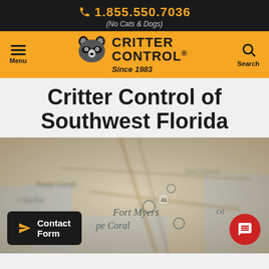1.855.550.7036 (No Cats & Dogs)
[Figure (logo): Critter Control logo with raccoon icon and text 'CRITTER CONTROL Since 1983', navigation bar with Menu and Search icons on a yellow/orange background]
Critter Control of Southwest Florida
[Figure (map): Blurred sepia-toned map showing Southwest Florida area including Punta Gorda, Fort Myers, Cape Coral, and surrounding areas]
Contact Form
Chat bubble icon